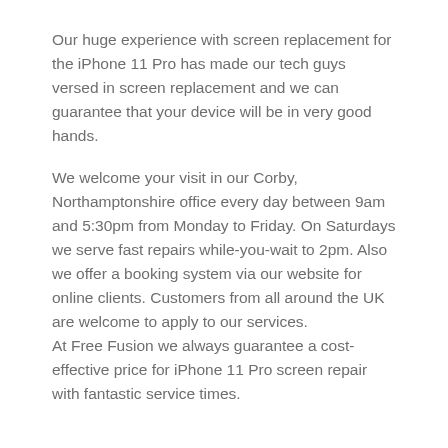Our huge experience with screen replacement for the iPhone 11 Pro has made our tech guys versed in screen replacement and we can guarantee that your device will be in very good hands.
We welcome your visit in our Corby, Northamptonshire office every day between 9am and 5:30pm from Monday to Friday. On Saturdays we serve fast repairs while-you-wait to 2pm. Also we offer a booking system via our website for online clients. Customers from all around the UK are welcome to apply to our services. At Free Fusion we always guarantee a cost-effective price for iPhone 11 Pro screen repair with fantastic service times.